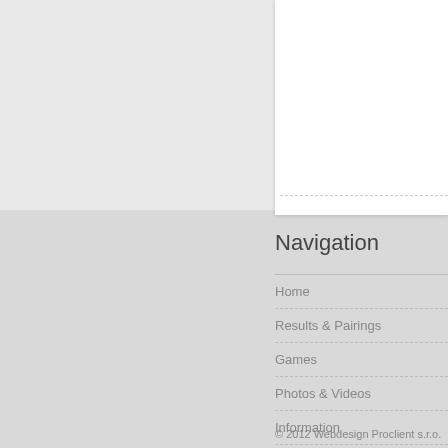[Figure (photo): Chess pieces on a chessboard — a white queen surrounded by dark pawns and pieces]
W
W… yo…
Navigation
Home
Results & Pairings
Games
Photos & Videos
Information
Contact
© 2012 Webdesign Proclient s.r.o.